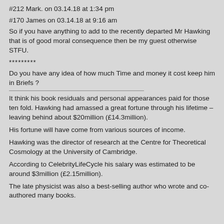#212 Mark. on 03.14.18 at 1:34 pm
#170 James on 03.14.18 at 9:16 am
So if you have anything to add to the recently departed Mr Hawking that is of good moral consequence then be my guest otherwise STFU.
*********
Do you have any idea of how much Time and money it cost keep him in Briefs ?
It think his book residuals and personal appearances paid for those ten fold. Hawking had amassed a great fortune through his lifetime – leaving behind about $20million (£14.3million).
His fortune will have come from various sources of income.
Hawking was the director of research at the Centre for Theoretical Cosmology at the University of Cambridge.
According to CelebrityLifeCycle his salary was estimated to be around $3million (£2.15million).
The late physicist was also a best-selling author who wrote and co-authored many books.